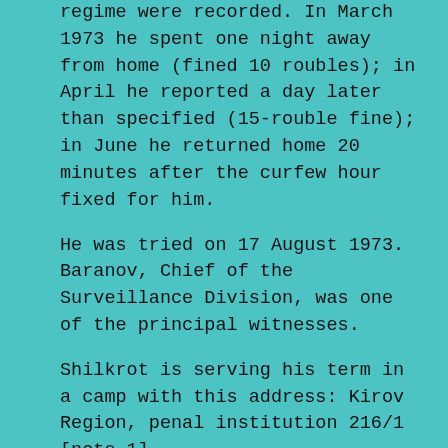regime were recorded. In March 1973 he spent one night away from home (fined 10 roubles); in April he reported a day later than specified (15-rouble fine); in June he returned home 20 minutes after the curfew hour fixed for him.
He was tried on 17 August 1973. Baranov, Chief of the Surveillance Division, was one of the principal witnesses.
Shilkrot is serving his term in a camp with this address: Kirov Region, penal institution 216/1 [note 1].
[2]
Boris Zdorovets (see CCE 7), indicted under Article 187-1 of the Ukrainian Criminal Code (which corresponds to Article 190-1 of the RSFSR code), has been tried in Kharkov. His arrest was reported in the